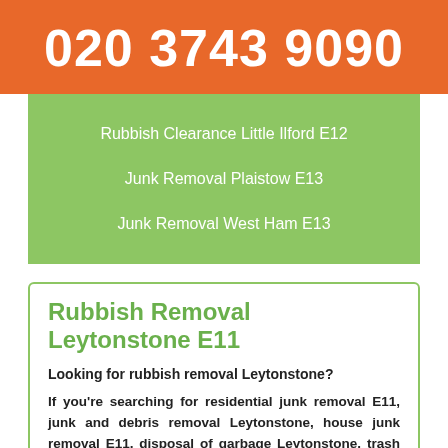020 3743 9090
Rubbish Clearance Little Ilford E12
Junk Removal Plaistow E13
Junk Removal West Ham E13
Rubbish Removal Leytonstone E11
Looking for rubbish removal Leytonstone?
If you're searching for residential junk removal E11, junk and debris removal Leytonstone, house junk removal E11, disposal of garbage Leytonstone, trash disposal E11, garbage removal Leytonstone, rubbish collection E11 then we're available at any time on